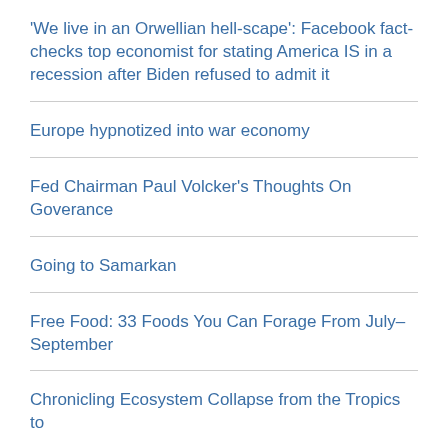'We live in an Orwellian hell-scape': Facebook fact-checks top economist for stating America IS in a recession after Biden refused to admit it
Europe hypnotized into war economy
Fed Chairman Paul Volcker's Thoughts On Goverance
Going to Samarkan
Free Food: 33 Foods You Can Forage From July–September
Chronicling Ecosystem Collapse from the Tropics to